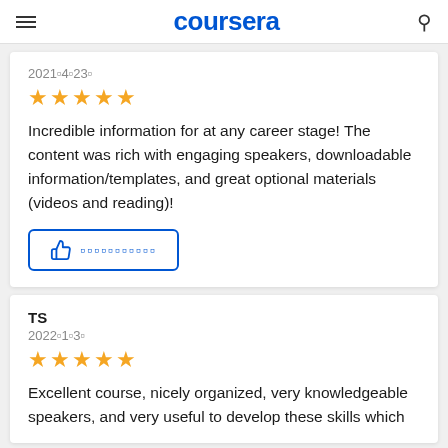coursera
2021年4月23日
★★★★★
Incredible information for at any career stage! The content was rich with engaging speakers, downloadable information/templates, and great optional materials (videos and reading)!
TS
2022年1月3日
★★★★★
Excellent course, nicely organized, very knowledgeable speakers, and very useful to develop these skills which